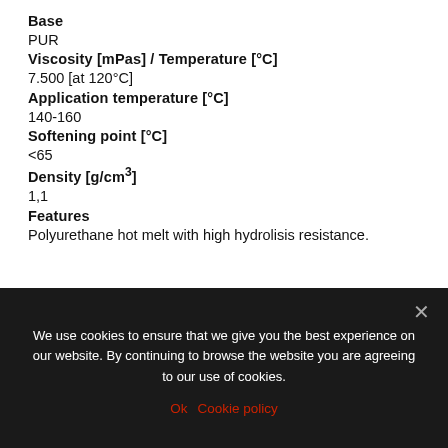Base
PUR
Viscosity [mPas] / Temperature [°C]
7.500 [at 120°C]
Application temperature [°C]
140-160
Softening point [°C]
<65
Density [g/cm³]
1,1
Features
Polyurethane hot melt with high hydrolisis resistance.
We use cookies to ensure that we give you the best experience on our website. By continuing to browse the website you are agreeing to our use of cookies.